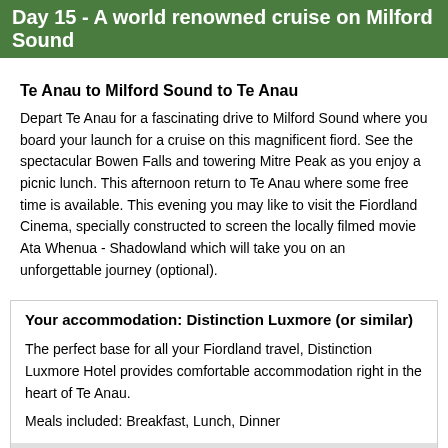Day 15 - A world renowned cruise on Milford Sound
Te Anau to Milford Sound to Te Anau
Depart Te Anau for a fascinating drive to Milford Sound where you board your launch for a cruise on this magnificent fiord. See the spectacular Bowen Falls and towering Mitre Peak as you enjoy a picnic lunch. This afternoon return to Te Anau where some free time is available. This evening you may like to visit the Fiordland Cinema, specially constructed to screen the locally filmed movie Ata Whenua - Shadowland which will take you on an unforgettable journey (optional).
Your accommodation: Distinction Luxmore (or similar)
The perfect base for all your Fiordland travel, Distinction Luxmore Hotel provides comfortable accommodation right in the heart of Te Anau.
Meals included: Breakfast, Lunch, Dinner